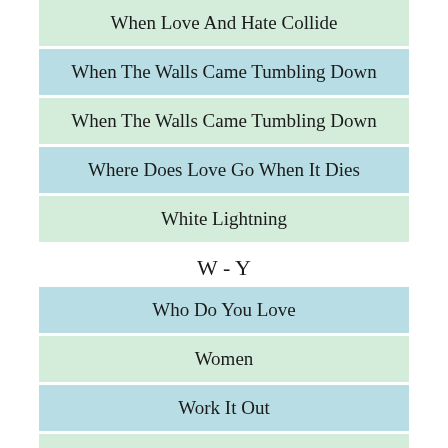When Love And Hate Collide
When The Walls Came Tumbling Down
When The Walls Came Tumbling Down
Where Does Love Go When It Dies
White Lightning
W - Y
Who Do You Love
Women
Work It Out
Worlds Collide
You Can'T Always Get What You Want